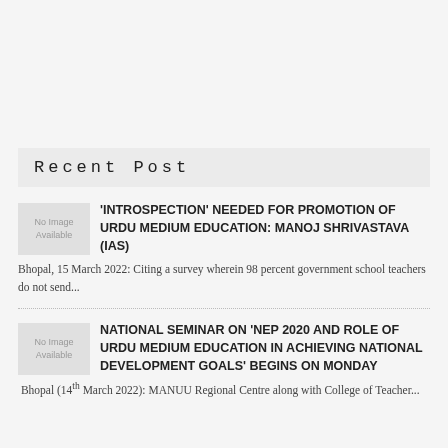Recent Post
'INTROSPECTION' NEEDED FOR PROMOTION OF URDU MEDIUM EDUCATION: MANOJ SHRIVASTAVA (IAS)
Bhopal, 15 March 2022: Citing a survey wherein 98 percent government school teachers do not send...
NATIONAL SEMINAR ON 'NEP 2020 AND ROLE OF URDU MEDIUM EDUCATION IN ACHIEVING NATIONAL DEVELOPMENT GOALS' BEGINS ON MONDAY
Bhopal (14th March 2022): MANUU Regional Centre along with College of Teacher...